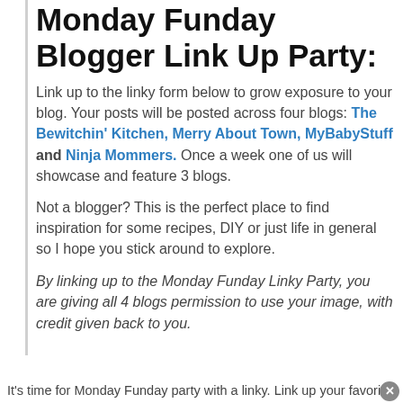Monday Funday Blogger Link Up Party:
Link up to the linky form below to grow exposure to your blog. Your posts will be posted across four blogs: The Bewitchin' Kitchen, Merry About Town, MyBabyStuff and Ninja Mommers. Once a week one of us will showcase and feature 3 blogs.
Not a blogger? This is the perfect place to find inspiration for some recipes, DIY or just life in general so I hope you stick around to explore.
By linking up to the Monday Funday Linky Party, you are giving all 4 blogs permission to use your image, with credit given back to you.
It's time for Monday Funday party with a linky. Link up your favorite